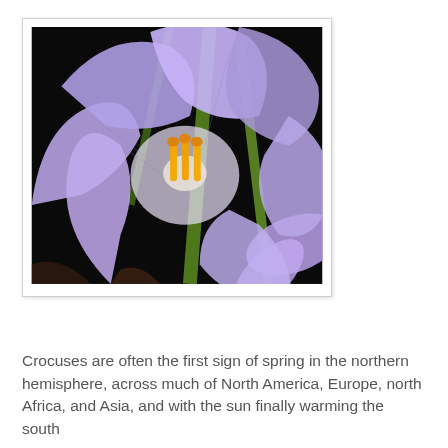[Figure (photo): Close-up photograph of a purple crocus flower with orange stamens in the center, set against a dark background with green stems and leaves. Additional purple crocus visible in the lower right corner.]
Crocuses are often the first sign of spring in the northern hemisphere, across much of North America, Europe, north Africa, and Asia, and with the sun finally warming the south